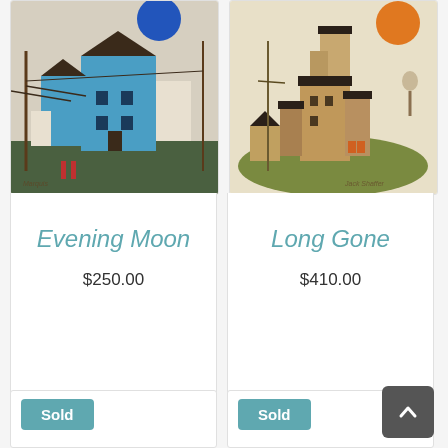[Figure (illustration): Painting of blue buildings with a blue moon/circle in sky, telephone poles, folk art style]
Evening Moon
$250.00
[Figure (illustration): Painting of tan/brown grain elevator buildings with orange sun in sky, telephone poles]
Long Gone
$410.00
Sold
Sold